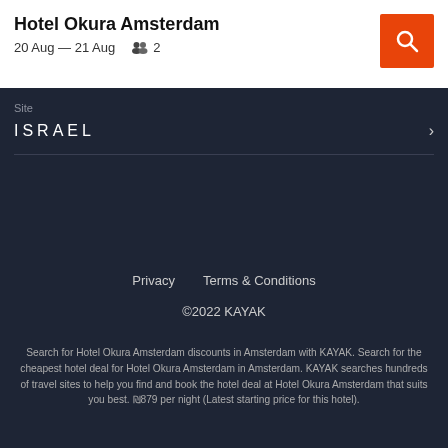Hotel Okura Amsterdam
20 Aug — 21 Aug   2
Site
ISRAEL
Privacy    Terms & Conditions
©2022 KAYAK
Search for Hotel Okura Amsterdam discounts in Amsterdam with KAYAK. Search for the cheapest hotel deal for Hotel Okura Amsterdam in Amsterdam. KAYAK searches hundreds of travel sites to help you find and book the hotel deal at Hotel Okura Amsterdam that suits you best. ₪879 per night (Latest starting price for this hotel).